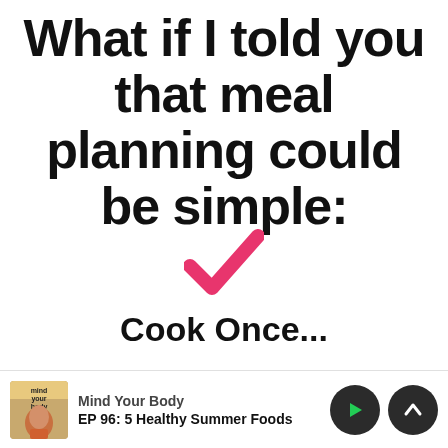What if I told you that meal planning could be simple:
[Figure (illustration): Pink/hot-pink checkmark symbol centered on white background]
Cook Once...
...and eat for the rest of the week
Mind Your Body | EP 96: 5 Healthy Summer Foods